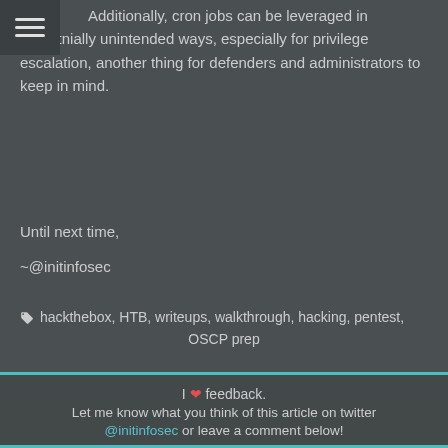Additionally, cron jobs can be leveraged in potentnially unintended ways, especially for privilege escalation, another thing for defenders and administrators to keep in mind.
Until next time,
~@initinfosec
hackthebox, HTB, writeups, walkthrough, hacking, pentest, OSCP prep
I ❤ feedback. Let me know what you think of this article on twitter @initinfosec or leave a comment below!